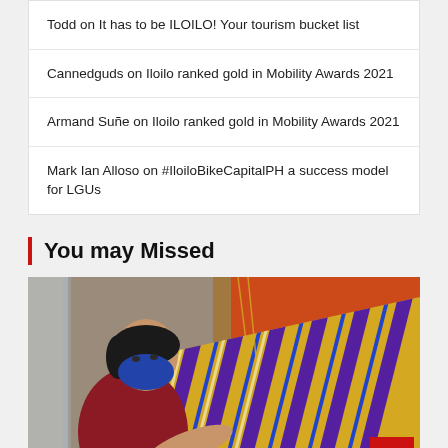Todd on It has to be ILOILO! Your tourism bucket list
Cannedguds on Iloilo ranked gold in Mobility Awards 2021
Armand Suñe on Iloilo ranked gold in Mobility Awards 2021
Mark Ian Alloso on #IloiloBikeCapitalPH a success model for LGUs
You may Missed
[Figure (photo): A woman wearing a blue face mask and red shirt weaving colorful striped fabric on a loom, with an orange background and wooden frame visible.]